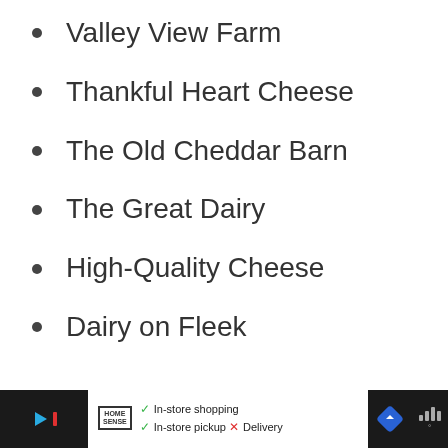Valley View Farm
Thankful Heart Cheese
The Old Cheddar Barn
The Great Dairy
High-Quality Cheese
Dairy on Fleek
In-store shopping  In-store pickup  X Delivery